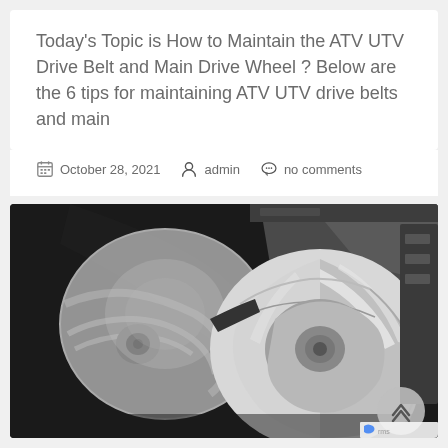Today's Topic is How to Maintain the ATV UTV Drive Belt and Main Drive Wheel ?  Below are the 6 tips for maintaining ATV UTV drive belts and main
October 28, 2021   admin   no comments
[Figure (photo): Black and white close-up photograph of ATV/UTV CVT drive belt and main drive wheel (clutch) mechanism showing spinning sheaves and belt]